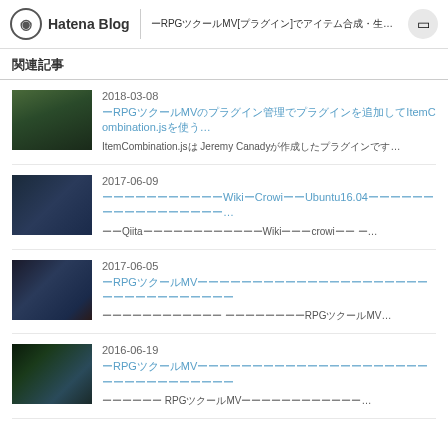Hatena Blog | ーRPGツクールMV[プラグイン]でアイテム合成・生成できるようにするためのItemCombination.jsを使う...
関連記事
2018-03-08
ーRPGツクールMVのプラグイン管理でプラグインを追加してItemCombination.jsを使う...
ItemCombination.jsは Jeremy Canadyが作成したプラグインです...
2017-06-09
ーーーーーーーーーーーWikiーCrowiーーUbuntu16.04ーーーーーーーーーーーーーーーーー...
ーーQiitaーーーーーーーーーーーーWikiーーーcrowiーー ー...
2017-06-05
ーRPGツクールMVーーーーーーーーーーーーーーーーーーーーーーーーーーーーーーーーー
ーーーーーーーーーーーー ーーーーーーーーRPGツクールMV...
2016-06-19
ーRPGツクールMVーーーーーーーーーーーーーーーーーーーーーーーーーーーーーーーーー
ーーーーーー RPGツクールMVーーーーーーーーーーーー...